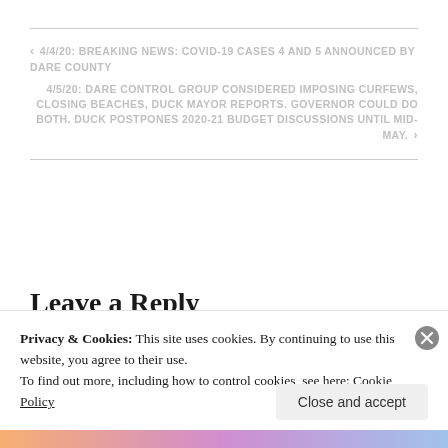< 4/4/20: BREAKING NEWS: COVID-19 CASES 4 AND 5 ANNOUNCED BY DARE COUNTY
4/5/20: DARE CONTROL GROUP CONSIDERED IMPOSING CURFEWS, CLOSING BEACHES, DUCK MAYOR REPORTS. GOVERNOR COULD DO BOTH. DUCK POSTPONES 2020-21 BUDGET DISCUSSIONS UNTIL MID-MAY. >
Leave a Reply
Privacy & Cookies: This site uses cookies. By continuing to use this website, you agree to their use.
To find out more, including how to control cookies, see here: Cookie Policy